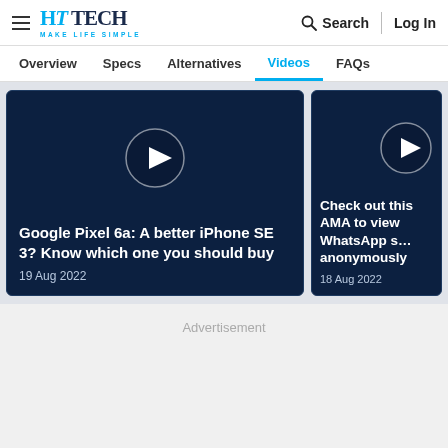HT TECH — MAKE LIFE SIMPLE | Search | Log In
Overview | Specs | Alternatives | Videos | FAQs
[Figure (screenshot): Video thumbnail card for 'Google Pixel 6a: A better iPhone SE 3? Know which one you should buy' dated 19 Aug 2022 on dark navy background with play button]
[Figure (screenshot): Video thumbnail card for 'Check out this AMA to view WhatsApp anonymously' dated 18 Aug 2022 on dark navy background with play button]
Advertisement